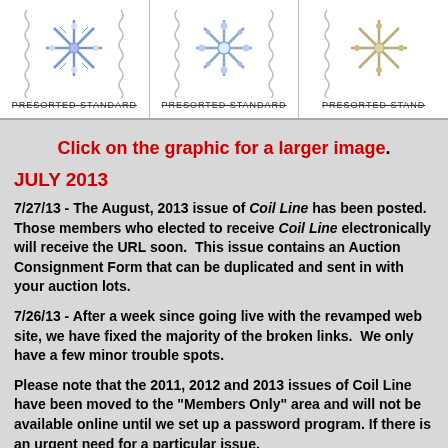[Figure (illustration): Three postage stamps showing snowflake designs with 'PRESORTED STANDARD' text, arranged in a horizontal row]
Click on the graphic for a larger image.
JULY 2013
7/27/13 - The August, 2013 issue of Coil Line has been posted. Those members who elected to receive Coil Line electronically will receive the URL soon. This issue contains an Auction Consignment Form that can be duplicated and sent in with your auction lots.
7/26/13 - After a week since going live with the revamped web site, we have fixed the majority of the broken links. We only have a few minor trouble spots.
Please note that the 2011, 2012 and 2013 issues of Coil Line have been moved to the "Members Only" area and will not be available online until we set up a password program. If there is an urgent need for a particular issue,